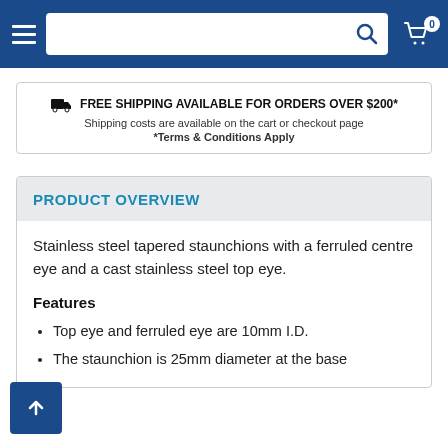Navigation header with hamburger menu, search bar, and cart icon (0 items)
FREE SHIPPING AVAILABLE FOR ORDERS OVER $200*
Shipping costs are available on the cart or checkout page
*Terms & Conditions Apply
PRODUCT OVERVIEW
Stainless steel tapered staunchions with a ferruled centre eye and a cast stainless steel top eye.
Features
Top eye and ferruled eye are 10mm I.D.
The staunchion is 25mm diameter at the base